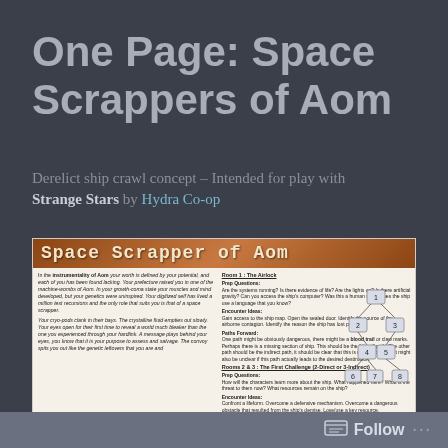One Page: Space Scrappers of Aom
Derelict ship crawl concept – Intended for play with Strange Stars by Hydra Co-op
[Figure (infographic): Preview image of the 'Space Scrapper of Aom' one-page RPG document showing title in orange/brown font, two columns of text describing the game world and room encounter rules, and a node-map tree diagram with numbered boxes 1-8 on the right side.]
Follow